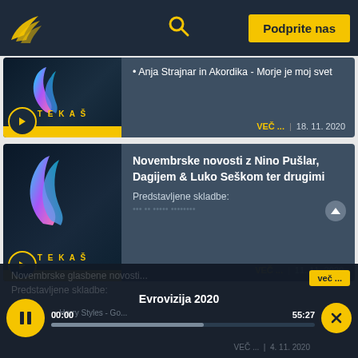[Figure (screenshot): Website header with logo, search icon, and yellow 'Podprite nas' button on dark navy background]
[Figure (screenshot): Podcast/radio card: thumbnail with TEKAS logo and play button, title 'Anja Strajnar in Akordika - Morje je moj svet', date 18.11.2020]
[Figure (screenshot): Podcast/radio card: thumbnail with TEKAS logo and play button, title 'Novembrske novosti z Nino Pušlar, Dagijem & Luko Seškom ter drugimi', subtitle 'Predstavljene skladbe:', date 11.11.2020]
[Figure (screenshot): Audio player bar at bottom: playing 'Evrovizija 2020', time 00:00 / 55:27, pause and close buttons, 'več...' button, date 4.11.2020]